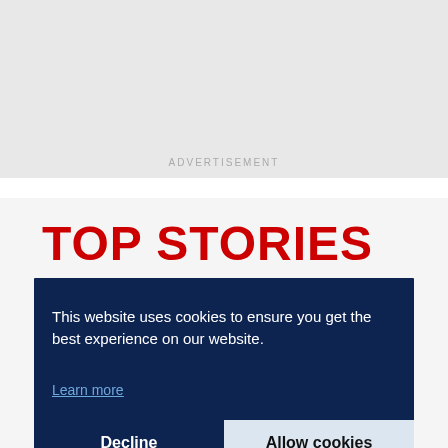[Figure (other): Advertisement placeholder block, light gray background]
ADVERTISEMENT
TOP STORIES
This website uses cookies to ensure you get the best experience on our website.
Learn more
Decline
Allow cookies
Change in KATA Law